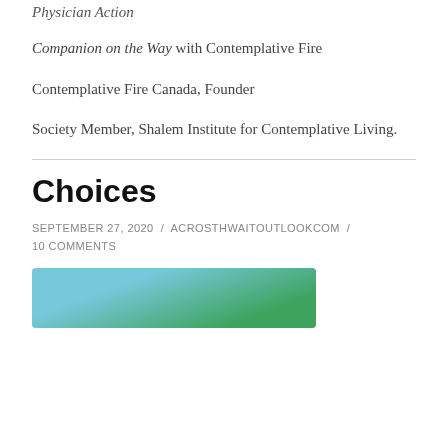Physician Action
Companion on the Way with Contemplative Fire
Contemplative Fire Canada, Founder
Society Member, Shalem Institute for Contemplative Living.
Choices
SEPTEMBER 27, 2020 / ACROSTHWAITOUTLOOKCOM / 10 COMMENTS
[Figure (photo): Partial view of a blue and green image, likely a road sign or directional sign on a blue sky background]